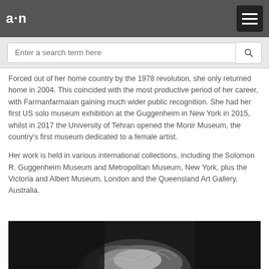a·n
Enter a search term here
Forced out of her home country by the 1978 revolution, she only returned home in 2004. This coincided with the most productive period of her career, with Farmanfarmaian gaining much wider public recognition. She had her first US solo museum exhibition at the Guggenheim in New York in 2015, whilst in 2017 the University of Tehran opened the Monir Museum, the country's first museum dedicated to a female artist.
Her work is held in various international collections, including the Solomon R. Guggenheim Museum and Metropolitan Museum, New York, plus the Victoria and Albert Museum, London and the Queensland Art Gallery, Australia.
[Figure (photo): Black and white photograph of a woman, partially visible, with light-colored hair against a dark background]